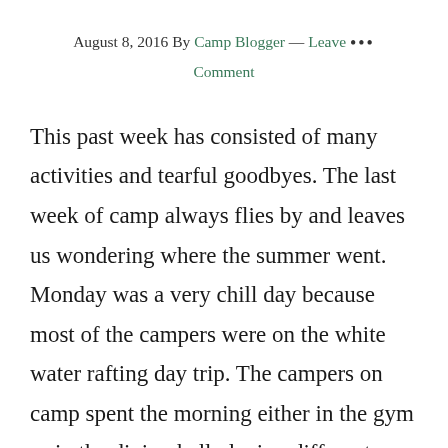August 8, 2016 By Camp Blogger — Leave Comment
This past week has consisted of many activities and tearful goodbyes. The last week of camp always flies by and leaves us wondering where the summer went. Monday was a very chill day because most of the campers were on the white water rafting day trip. The campers on camp spent the morning either in the gym or in the dining hall playing different games or making friendship bracelets. After the rafters returned,